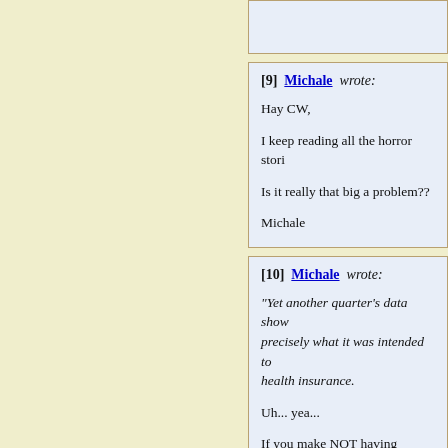[9] Michale wrote:

Hay CW,

I keep reading all the horror stori

Is it really that big a problem??

Michale
[10] Michale wrote:

"Yet another quarter's data show precisely what it was intended to health insurance.

Uh... yea...

If you make NOT having insura insured will go up..

Just like if you make NOT ownin

Guess what??